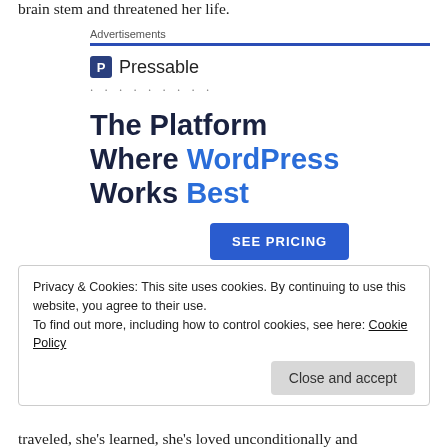brain stem and threatened her life.
[Figure (other): Advertisement banner for Pressable WordPress hosting. Shows 'Advertisements' label with blue line, Pressable logo with icon, dotted line, headline 'The Platform Where WordPress Works Best' and 'SEE PRICING' button.]
Privacy & Cookies: This site uses cookies. By continuing to use this website, you agree to their use.
To find out more, including how to control cookies, see here: Cookie Policy
traveled, she's learned, she's loved unconditionally and